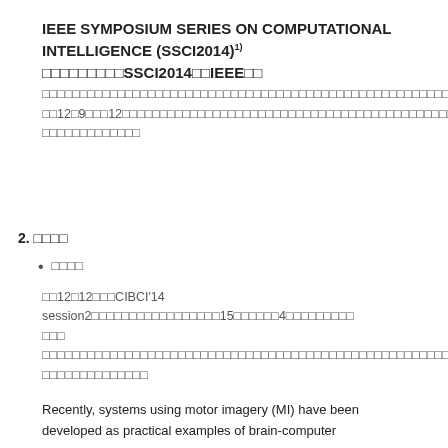IEEE SYMPOSIUM SERIES ON COMPUTATIONAL INTELLIGENCE (SSCI2014)1) □□□□□□□□□SSCI2014□□IEEE□□ □□□□□□□□□□□□□□□□□□□□□□□□□□□□□□□□□□□□□□□□□□□□□□□□□□□□□□□□□□□□□□ □□□□□□□□□□□□□□□□□□□□□□□□□□□□□□□□□□□□□□□□□□□□□□□ □□12□9□□□12□□□□□□□□□□□□□□□□□□□□□□□□□□□□□□□□□□□□□□□□□□□□□□□□□□□□□□□ □□□□□□□□□□□□
2. □□□□
□□□□
□□12□12□□□CIBCI'14 session2□□□□□□□□□□□□□□□□□15□□□□□□4□□□□□□ □□□ □□□□□□□□□□□□□□□□□□□□□□□□□□□□□□□□□□□□□□□□□□□□□□□□□□□□□□□□□□□□□□□□□ □□□□□□□□□□□□□□
Recently, systems using motor imagery (MI) have been developed as practical examples of brain-computer